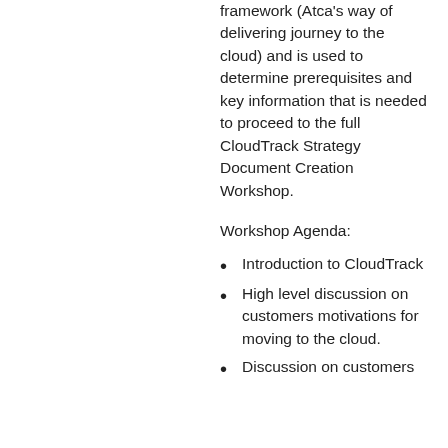framework (Atca's way of delivering journey to the cloud) and is used to determine prerequisites and key information that is needed to proceed to the full CloudTrack Strategy Document Creation Workshop.
Workshop Agenda:
Introduction to CloudTrack
High level discussion on customers motivations for moving to the cloud.
Discussion on customers